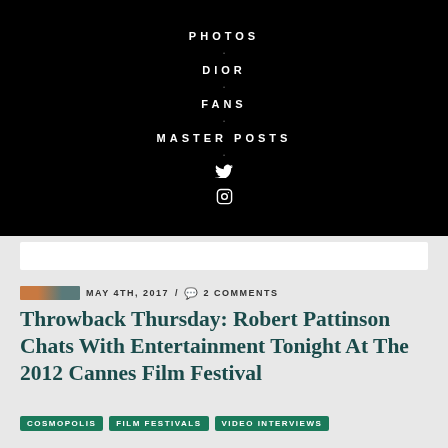[Figure (other): Black navigation menu on dark background with items: PHOTOS, DIOR, FANS, MASTER POSTS, Twitter bird icon, Instagram icon, separated by small dots]
MAY 4TH, 2017 / 2 COMMENTS
Throwback Thursday: Robert Pattinson Chats With Entertainment Tonight At The 2012 Cannes Film Festival
COSMOPOLIS  FILM FESTIVALS  VIDEO INTERVIEWS